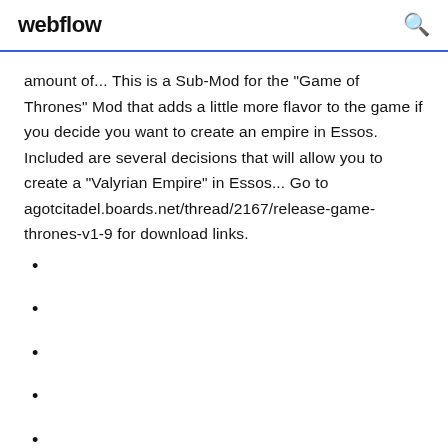webflow
amount of... This is a Sub-Mod for the "Game of Thrones" Mod that adds a little more flavor to the game if you decide you want to create an empire in Essos. Included are several decisions that will allow you to create a "Valyrian Empire" in Essos... Go to agotcitadel.boards.net/thread/2167/release-game-thrones-v1-9 for download links.